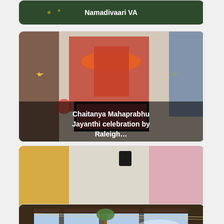[Figure (photo): Partial card at top showing text 'Namadivaari VA' on a dark green background]
[Figure (photo): Photo of a decorated Hindu deity idol with garlands and flowers, with text overlay 'Chaitanya Mahaprabhu Jayanthi celebration by Raleigh…']
[Figure (photo): Photo of a group of people sitting on the floor at a cultural/religious gathering, with text overlay 'Gopa Kuteeram Annual Day and Narasimha Jayanthi at…']
[Figure (photo): Partial photo showing an outdoor structure/pergola with palm tree and string lights visible, bottom card partially cropped]